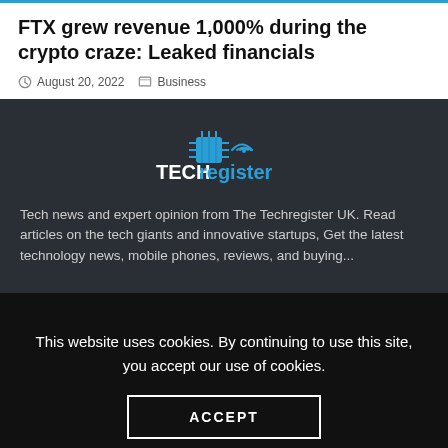FTX grew revenue 1,000% during the crypto craze: Leaked financials
August 20, 2022  Business
[Figure (logo): TechRegister logo with circuit board and wifi icon above the text 'TECHregister']
Tech news and expert opinion from The Techregister UK. Read articles on the tech giants and innovative startups, Get the latest technology news, mobile phones, reviews, and buying...
This website uses cookies. By continuing to use this site, you accept our use of cookies.
ACCEPT